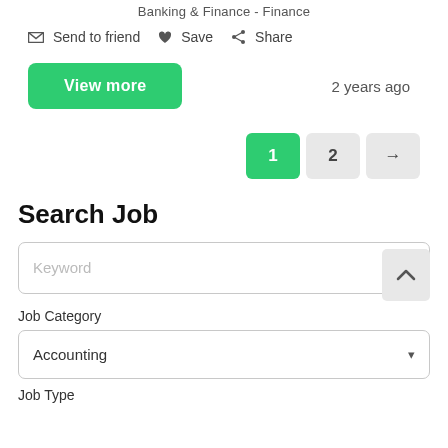Banking & Finance - Finance
✉ Send to friend  ♥ Save  ⋖ Share
View more  2 years ago
1  2  →
Search Job
Keyword
Job Category
Accounting
Job Type